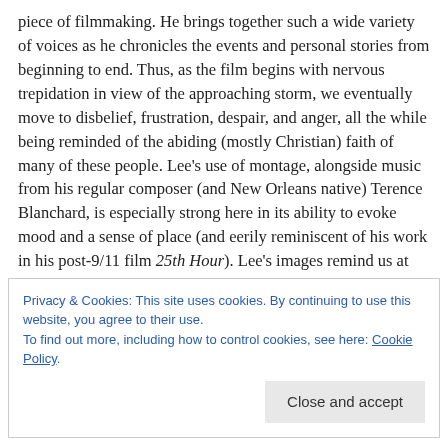piece of filmmaking. He brings together such a wide variety of voices as he chronicles the events and personal stories from beginning to end. Thus, as the film begins with nervous trepidation in view of the approaching storm, we eventually move to disbelief, frustration, despair, and anger, all the while being reminded of the abiding (mostly Christian) faith of many of these people. Lee's use of montage, alongside music from his regular composer (and New Orleans native) Terence Blanchard, is especially strong here in its ability to evoke mood and a sense of place (and eerily reminiscent of his work in his post-9/11 film 25th Hour). Lee's images remind us at once of the terrible destruction that remains in the city and of the spirited
Privacy & Cookies: This site uses cookies. By continuing to use this website, you agree to their use.
To find out more, including how to control cookies, see here: Cookie Policy